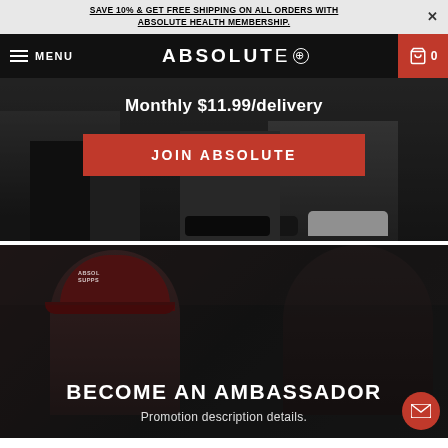SAVE 10% & GET FREE SHIPPING ON ALL ORDERS WITH ABSOLUTE HEALTH MEMBERSHIP.
MENU | ABSOLUTE | 0
[Figure (photo): Dark athletic people legs and shoes at a gym, hero section with Monthly $11.99/delivery text and JOIN ABSOLUTE red button]
Monthly $11.99/delivery
JOIN ABSOLUTE
[Figure (photo): Two people at a gym, one wearing a red Absolute Supplements cap, dark overlay, with BECOME AN AMBASSADOR heading and Promotion description details text]
BECOME AN AMBASSADOR
Promotion description details.